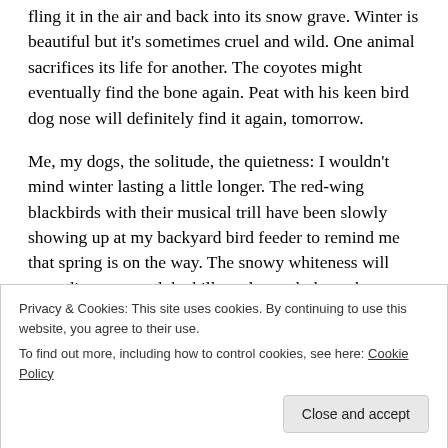fling it in the air and back into its snow grave. Winter is beautiful but it's sometimes cruel and wild. One animal sacrifices its life for another. The coyotes might eventually find the bone again. Peat with his keen bird dog nose will definitely find it again, tomorrow.
Me, my dogs, the solitude, the quietness: I wouldn't mind winter lasting a little longer. The red-wing blackbirds with their musical trill have been slowly showing up at my backyard bird feeder to remind me that spring is on the way. The snowy whiteness will soon disappear and the hills underneath those three
Privacy & Cookies: This site uses cookies. By continuing to use this website, you agree to their use.
To find out more, including how to control cookies, see here: Cookie Policy